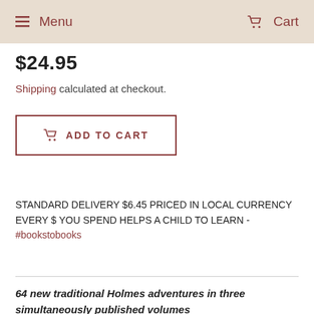Menu  Cart
$24.95
Shipping calculated at checkout.
[ ADD TO CART
STANDARD DELIVERY $6.45 PRICED IN LOCAL CURRENCY EVERY $ YOU SPEND HELPS A CHILD TO LEARN - #bookstobooks
64 new traditional Holmes adventures in three simultaneously published volumes